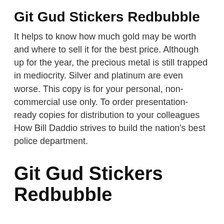Git Gud Stickers Redbubble
It helps to know how much gold may be worth and where to sell it for the best price. Although up for the year, the precious metal is still trapped in mediocrity. Silver and platinum are even worse. This copy is for your personal, non-commercial use only. To order presentation-ready copies for distribution to your colleagues How Bill Daddio strives to build the nation’s best police department.
Git Gud Stickers Redbubble